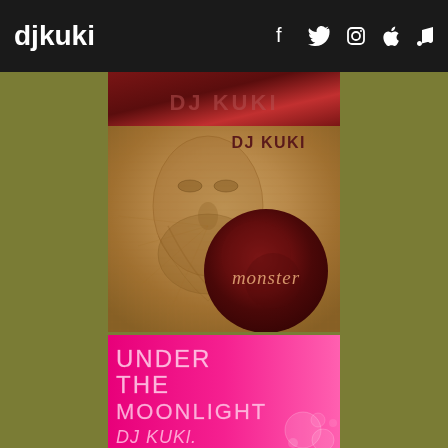djkuki — social icons: f, Twitter, Instagram, Apple, Music note
[Figure (photo): Partial red album art at top, partially visible, showing 'DJ KUKI' text in dark red]
[Figure (photo): DJ KUKI 'Monster' album cover: textured golden-brown surface with face impression, large dark red circle on right with cursive 'monster' text, 'DJ KUKI' in bold dark red upper right]
[Figure (photo): DJ KUKI 'Under The Moonlight' album cover: bright pink/magenta gradient background with large outlined text 'UNDER THE MOONLIGHT' and 'DJ KUKI.' in thin white/light pink font, decorative circles at bottom right]